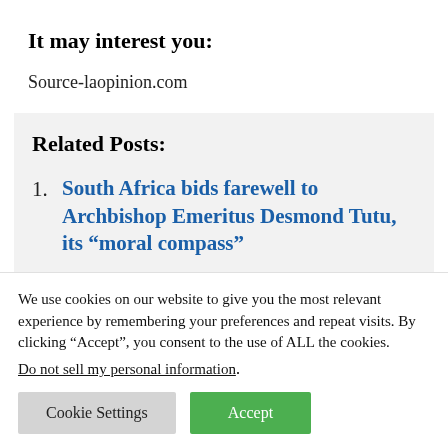It may interest you:
Source-laopinion.com
Related Posts:
South Africa bids farewell to Archbishop Emeritus Desmond Tutu, its “moral compass”
We use cookies on our website to give you the most relevant experience by remembering your preferences and repeat visits. By clicking “Accept”, you consent to the use of ALL the cookies.
Do not sell my personal information.